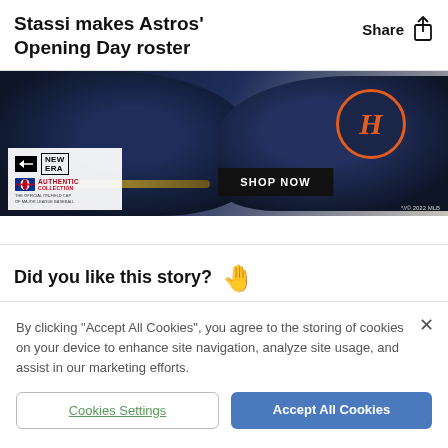Stassi makes Astros' Opening Day roster
Share
[Figure (photo): Advertisement showing Houston Astros New Era fitted caps with 'SHOP NOW' button. New Era Authentic Collection branding. *//© 2022 MLB copyright notice.]
Did you like this story?
By clicking "Accept All Cookies", you agree to the storing of cookies on your device to enhance site navigation, analyze site usage, and assist in our marketing efforts.
Cookies Settings
Accept All Cookies